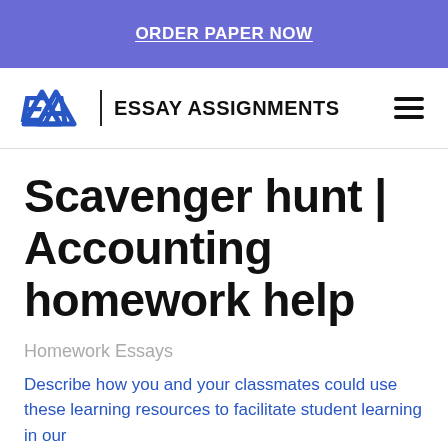ORDER PAPER NOW
[Figure (logo): Essay Assignments logo with EA monogram in blue and text 'ESSAY ASSIGNMENTS']
Scavenger hunt | Accounting homework help
Homework Essays
Describe how you and your classmates could use these learning resources to facilitate student learning in our